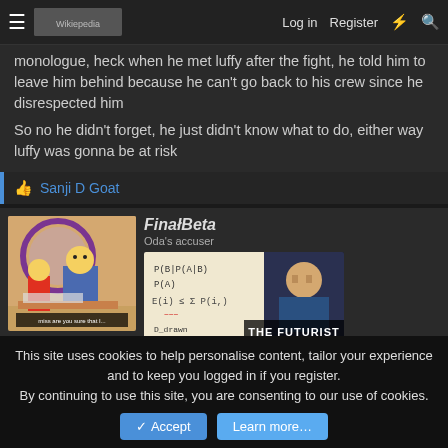Log in  Register
monologue, heck when he met luffy after the fight, he told him to leave him behind because he can't go back to his crew since he disrespected him
So no he didn't forget, he just didn't know what to do, either way luffy was gonna be at risk
👍 Sanji D Goat
FinałBeta
Oda's accuser
[Figure (screenshot): Screenshot of a forum post with a Simpsons GIF avatar (Homer and Lisa at a desk) and a Big Bang Theory meme image labeled THE FUTURIST showing Sheldon at a whiteboard with math equations]
This site uses cookies to help personalise content, tailor your experience and to keep you logged in if you register.
By continuing to use this site, you are consenting to our use of cookies.
✓ Accept    Learn more…